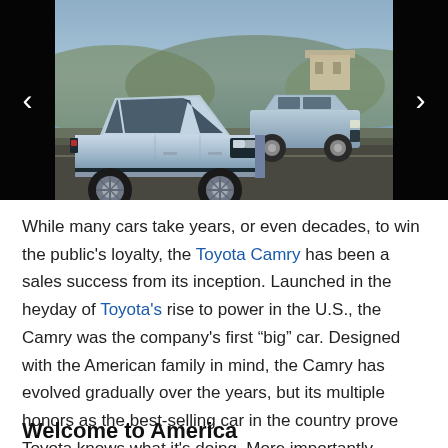[Figure (photo): Two vintage Toyota Camry sedans (1980s era) parked on a road/parking area with hills and a building in the background. Light blue/silver cars photographed in outdoor daylight. Navigation arrows on left and right sides of the image.]
While many cars take years, or even decades, to win the public's loyalty, the Toyota Camry has been a sales success from its inception. Launched in the heyday of Toyota's rise to power in the U.S., the Camry was the company's first “big” car. Designed with the American family in mind, the Camry has evolved gradually over the years, but its multiple honors as the best-selling car in the country prove Toyota knows what it's doing. More importantly, Toyota knows what American buyers want in a traditional family sedan.
Welcome to America